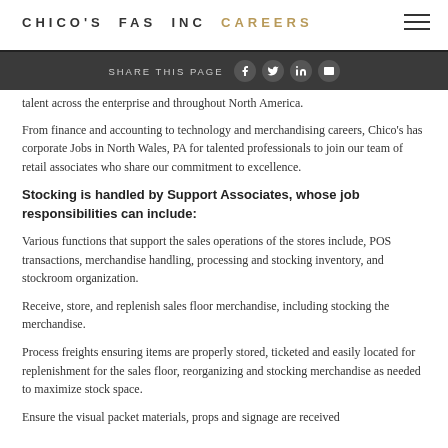CHICO'S FAS INC CAREERS
SHARE THIS PAGE
talent across the enterprise and throughout North America.
From finance and accounting to technology and merchandising careers, Chico's has corporate Jobs in North Wales, PA for talented professionals to join our team of retail associates who share our commitment to excellence.
Stocking is handled by Support Associates, whose job responsibilities can include:
Various functions that support the sales operations of the stores include, POS transactions, merchandise handling, processing and stocking inventory, and stockroom organization.
Receive, store, and replenish sales floor merchandise, including stocking the merchandise.
Process freights ensuring items are properly stored, ticketed and easily located for replenishment for the sales floor, reorganizing and stocking merchandise as needed to maximize stock space.
Ensure the visual packet materials, props and signage are received